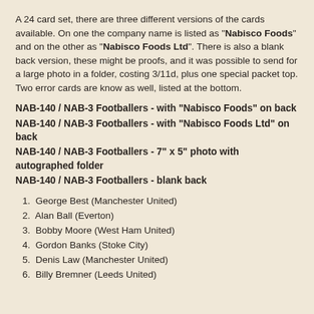A 24 card set, there are three different versions of the cards available. On one the company name is listed as "Nabisco Foods" and on the other as "Nabisco Foods Ltd". There is also a blank back version, these might be proofs, and it was possible to send for a large photo in a folder, costing 3/11d, plus one special packet top. Two error cards are know as well, listed at the bottom.
NAB-140 / NAB-3 Footballers - with "Nabisco Foods" on back
NAB-140 / NAB-3 Footballers - with "Nabisco Foods Ltd" on back
NAB-140 / NAB-3 Footballers - 7" x 5" photo with autographed folder
NAB-140 / NAB-3 Footballers - blank back
1.  George Best (Manchester United)
2.  Alan Ball (Everton)
3.  Bobby Moore (West Ham United)
4.  Gordon Banks (Stoke City)
5.  Denis Law (Manchester United)
6.  Billy Bremner (Leeds United)